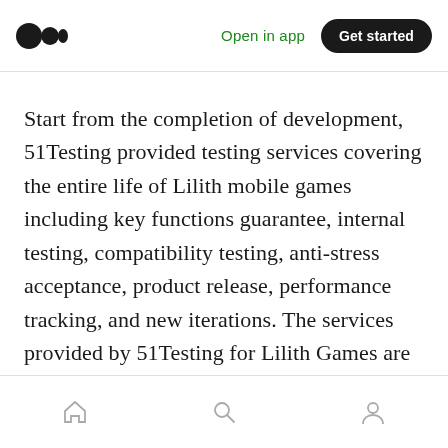Open in app | Get started
Start from the completion of development, 51Testing provided testing services covering the entire life of Lilith mobile games including key functions guarantee, internal testing, compatibility testing, anti-stress acceptance, product release, performance tracking, and new iterations. The services provided by 51Testing for Lilith Games are 24 hours per day which helps to guarantee the quality of “Sky Adventure” and “Art of Conquest”.
Home | Search | Profile